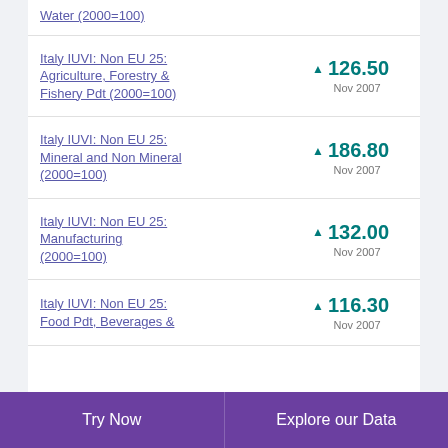Water (2000=100)
Italy IUVI: Non EU 25: Agriculture, Forestry & Fishery Pdt (2000=100) ▲ 126.50 Nov 2007
Italy IUVI: Non EU 25: Mineral and Non Mineral (2000=100) ▲ 186.80 Nov 2007
Italy IUVI: Non EU 25: Manufacturing (2000=100) ▲ 132.00 Nov 2007
Italy IUVI: Non EU 25: Food Pdt, Beverages & ... ▲ 116.30 Nov 2007
Try Now   Explore our Data